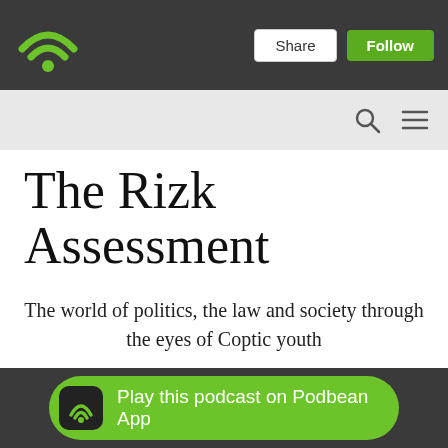[Figure (logo): Podbean wifi/podcast logo in green on dark background header bar with Share and Follow buttons]
[Figure (screenshot): Search bar area with search icon and hamburger menu icon on light grey background]
The Rizk Assessment
The world of politics, the law and society through the eyes of Coptic youth
[Figure (screenshot): Green rounded button at bottom: Play this podcast on Podbean App, with Podbean icon on left]